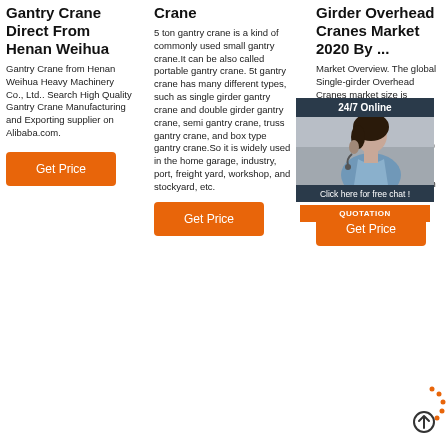Gantry Crane Direct From Henan Weihua
Gantry Crane from Henan Weihua Heavy Machinery Co., Ltd.. Search High Quality Gantry Crane Manufacturing and Exporting supplier on Alibaba.com.
Get Price
Crane
5 ton gantry crane is a kind of commonly used small gantry crane.It can be also called portable gantry crane. 5t gantry crane has many different types, such as single girder gantry crane and double girder gantry crane, semi gantry crane, truss gantry crane, and box type gantry crane.So it is widely used in the home garage, industry, port, freight yard, workshop, and stockyard, etc.
Get Price
Girder Overhead Cranes Market 2020 By ...
Market Overview. The global Single-girder Overhead Cranes market size is expected to grow at market value and forecasted from 2020 to... at a CAGR of ...% from forecasted period 2020 to 2025, it is expected to reach USD xx million by 2025, from USD xx million in 2019.
Get Price
[Figure (photo): Customer support representative with headset, '24/7 Online' chat widget overlay with 'Click here for free chat!' and 'QUOTATION' button]